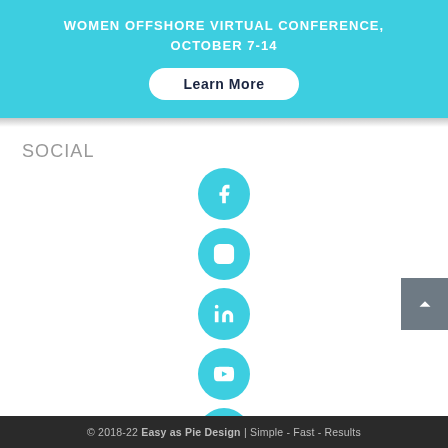WOMEN OFFSHORE VIRTUAL CONFERENCE, OCTOBER 7-14
Learn More
SOCIAL
[Figure (infographic): Vertical column of social media icon circles (Facebook, Instagram, LinkedIn, YouTube, Pinterest, Twitter) in teal/cyan color]
© 2018-22 Easy as Pie Design | Simple - Fast - Results